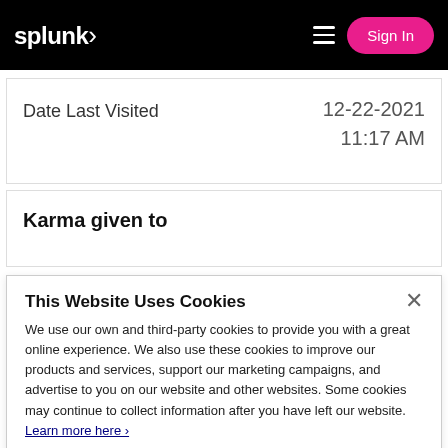splunk> Sign In
| Date Last Visited |  |
| --- | --- |
| Date Last Visited | 12-22-2021
11:17 AM |
Karma given to
This Website Uses Cookies
We use our own and third-party cookies to provide you with a great online experience. We also use these cookies to improve our products and services, support our marketing campaigns, and advertise to you on our website and other websites. Some cookies may continue to collect information after you have left our website. Learn more here ›
Accept Cookies   Cookies Settings ›